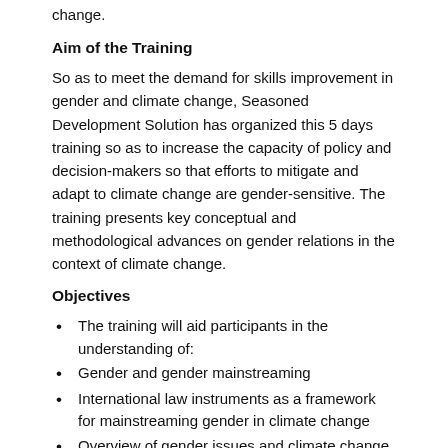change.
Aim of the Training
So as to meet the demand for skills improvement in gender and climate change, Seasoned Development Solution has organized this 5 days training so as to increase the capacity of policy and decision-makers so that efforts to mitigate and adapt to climate change are gender-sensitive. The training presents key conceptual and methodological advances on gender relations in the context of climate change.
Objectives
The training will aid participants in the understanding of:
Gender and gender mainstreaming
International law instruments as a framework for mainstreaming gender in climate change
Overview of gender issues and climate change
Gender mainstreaming in adaptation efforts